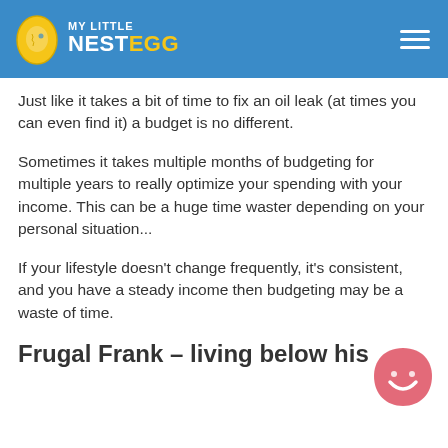MY LITTLE NESTEGG
Just like it takes a bit of time to fix an oil leak (at times you can even find it) a budget is no different.
Sometimes it takes multiple months of budgeting for multiple years to really optimize your spending with your income. This can be a huge time waster depending on your personal situation...
If your lifestyle doesn’t change frequently, it’s consistent, and you have a steady income then budgeting may be a waste of time.
Frugal Frank – living below his